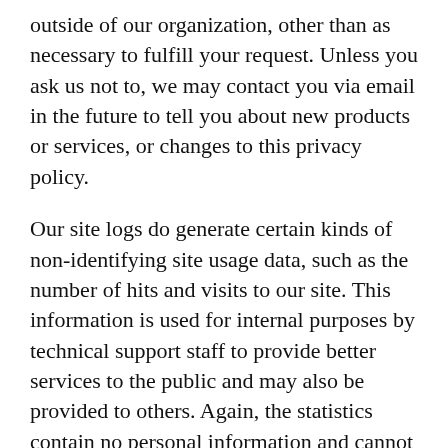outside of our organization, other than as necessary to fulfill your request. Unless you ask us not to, we may contact you via email in the future to tell you about new products or services, or changes to this privacy policy.
Our site logs do generate certain kinds of non-identifying site usage data, such as the number of hits and visits to our site. This information is used for internal purposes by technical support staff to provide better services to the public and may also be provided to others. Again, the statistics contain no personal information and cannot be used to gather such information.